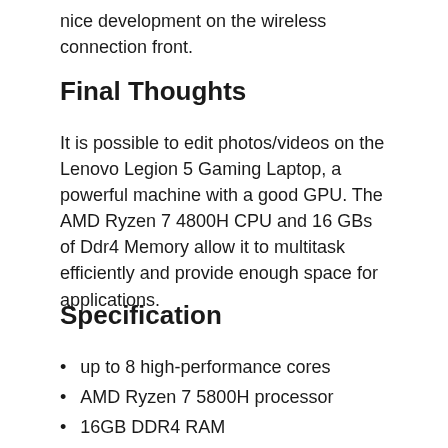nice development on the wireless connection front.
Final Thoughts
It is possible to edit photos/videos on the Lenovo Legion 5 Gaming Laptop, a powerful machine with a good GPU. The AMD Ryzen 7 4800H CPU and 16 GBs of Ddr4 Memory allow it to multitask efficiently and provide enough space for applications.
Specification
up to 8 high-performance cores
AMD Ryzen 7 5800H processor
16GB DDR4 RAM
512GB NVMe SSD storage